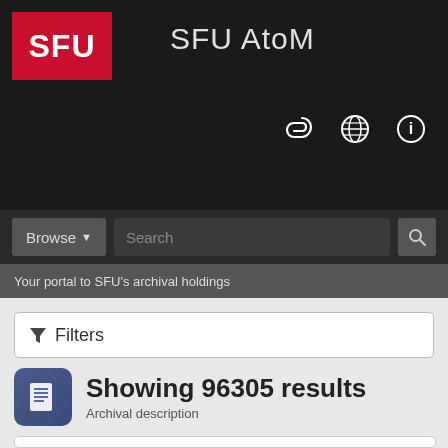SFU AtoM
Your portal to SFU's archival holdings
Filters
Showing 96305 results
Archival description
Advanced search options
Print preview   View:   Sort by: End date ▼   Direction: Ascending ▼